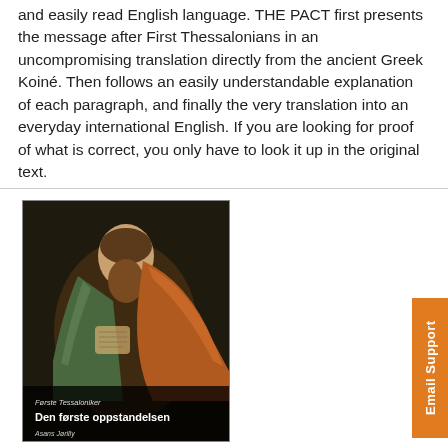and easily read English language. THE PACT first presents the message after First Thessalonians in an uncompromising translation directly from the ancient Greek Koiné. Then follows an easily understandable explanation of each paragraph, and finally the very translation into an everyday international English. If you are looking for proof of what is correct, you only have to look it up in the original text.
[Figure (illustration): Book cover showing a classical painting of a bearded man (likely Saint Paul) in robes holding a scroll, with text 'Første Tessaloniker Den første oppstandelsen' and author name 'Asans Jørilly']